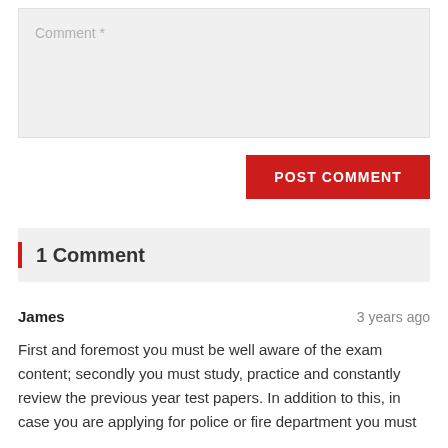[Figure (screenshot): Comment text area input field with placeholder text 'Comment *' on a light gray background]
POST COMMENT
1 Comment
James
3 years ago
First and foremost you must be well aware of the exam content; secondly you must study, practice and constantly review the previous year test papers. In addition to this, in case you are applying for police or fire department you must